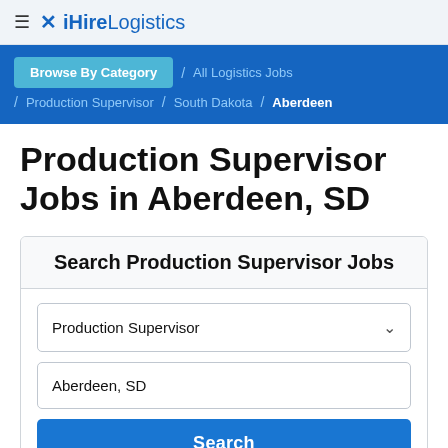≡ ✕ iHireLogistics
Browse By Category / All Logistics Jobs / Production Supervisor / South Dakota / Aberdeen
Production Supervisor Jobs in Aberdeen, SD
Search Production Supervisor Jobs
Production Supervisor
Aberdeen, SD
Search